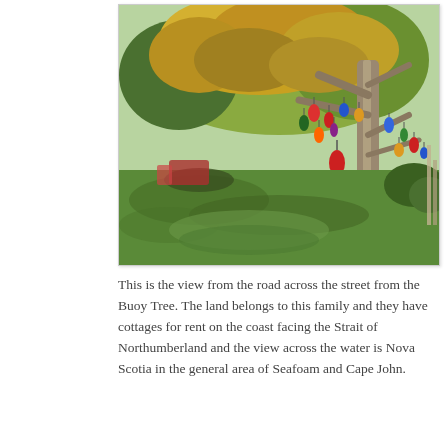[Figure (photo): A photograph showing a tree with many colorful buoys hanging from its branches, set in a grassy landscape. The tree has autumn yellow-orange foliage. The scene is viewed from across the road, with green grass in the foreground and shrubbery in the background.]
This is the view from the road across the street from the Buoy Tree. The land belongs to this family and they have cottages for rent on the coast facing the Strait of Northumberland and the view across the water is Nova Scotia in the general area of Seafoam and Cape John.